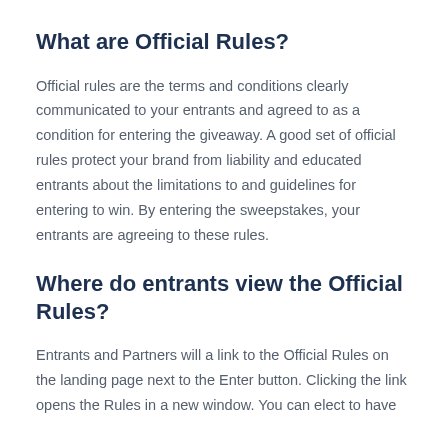What are Official Rules?
Official rules are the terms and conditions clearly communicated to your entrants and agreed to as a condition for entering the giveaway. A good set of official rules protect your brand from liability and educated entrants about the limitations to and guidelines for entering to win. By entering the sweepstakes, your entrants are agreeing to these rules.
Where do entrants view the Official Rules?
Entrants and Partners will a link to the Official Rules on the landing page next to the Enter button. Clicking the link opens the Rules in a new window. You can elect to have